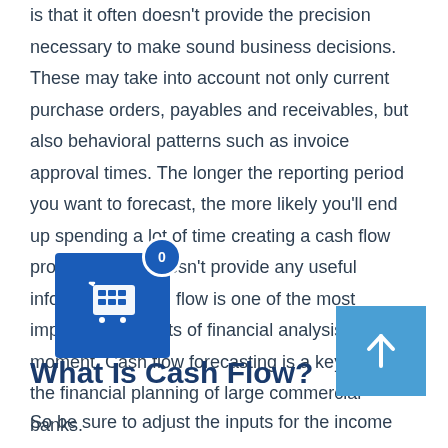is that it often doesn't provide the precision necessary to make sound business decisions. These may take into account not only current purchase orders, payables and receivables, but also behavioral patterns such as invoice approval times. The longer the reporting period you want to forecast, the more likely you'll end up spending a lot of time creating a cash flow projection that doesn't provide any useful information. Cash flow is one of the most important concepts of financial analysis at the moment. Cash flow forecasting is a key factor in the financial planning of large commercial banks.
What Is Cash Flow?
So be sure to adjust the inputs for the income